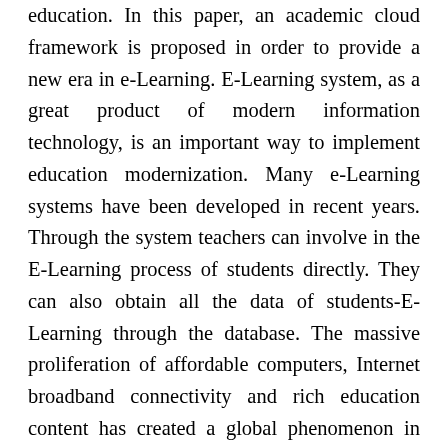education. In this paper, an academic cloud framework is proposed in order to provide a new era in e-Learning. E-Learning system, as a great product of modern information technology, is an important way to implement education modernization. Many e-Learning systems have been developed in recent years. Through the system teachers can involve in the E-Learning process of students directly. They can also obtain all the data of students-E-Learning through the database. The massive proliferation of affordable computers, Internet broadband connectivity and rich education content has created a global phenomenon in which information and communication technology (ICT) is being used to transform education. Therefore, there is a need to redesign the educational system to meet the needs better. The advent of computers with sophisticated software has made it possible to solve many complex problems very fast and at a lower cost. The use of monitoring system significantly improves the learning effect of those students with poor learning consciousness. Cloud computing is a